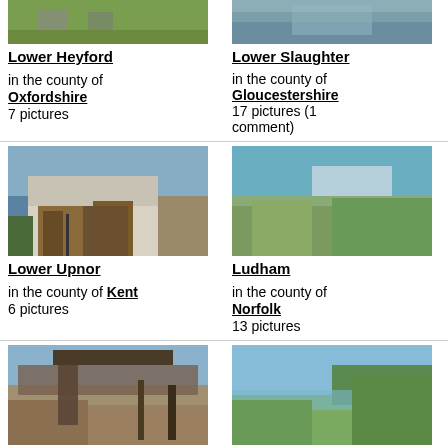[Figure (photo): Photo of Lower Heyford, showing gravestones and grass]
Lower Heyford
in the county of Oxfordshire
7 pictures
[Figure (photo): Photo of Lower Slaughter, showing a stream and bridge]
Lower Slaughter
in the county of Gloucestershire
17 pictures (1 comment)
[Figure (photo): Photo of Lower Upnor, showing white buildings and gate]
Lower Upnor
in the county of Kent
6 pictures
[Figure (photo): Photo of Ludham, showing water with reeds and boats]
Ludham
in the county of Norfolk
13 pictures
[Figure (photo): Photo showing ruins and a cannon]
[Figure (photo): Photo showing a lake and trees]